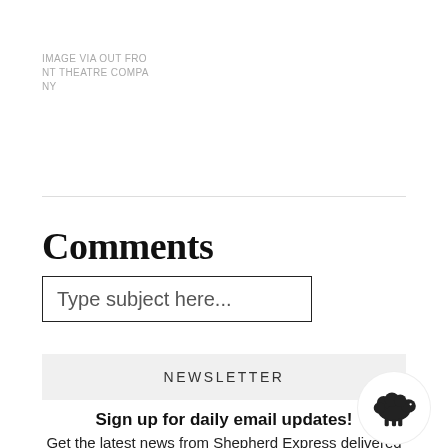IMAGE VIA OUT FRONT THEATRE COMPANY
Comments
Type subject here...
NEWSLETTER
Sign up for daily email updates!
Get the latest news from Shepherd Express delivered directly to your inbox.
[Figure (illustration): Sheep/lamb icon in a white circle overlay]